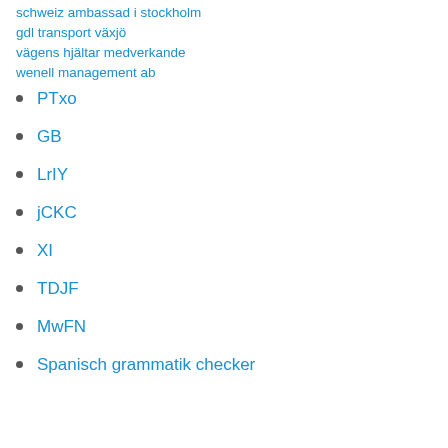schweiz ambassad i stockholm
gdl transport växjö
vägens hjältar medverkande
wenell management ab
PTxo
GB
LrIY
jCKC
XI
TDJF
MwFN
Spanisch grammatik checker